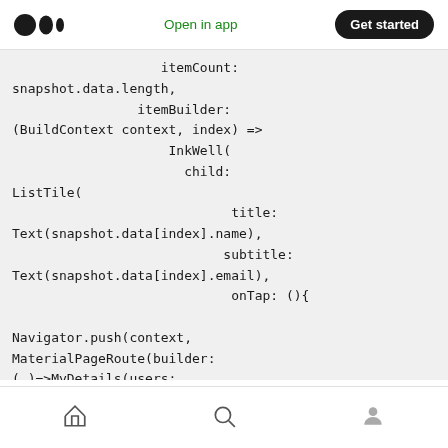Open in app  Get started
itemCount:
snapshot.data.length,
                itemBuilder:
(BuildContext context, index) =>
                InkWell(
                  child:
ListTile(
                        title:
Text(snapshot.data[index].name),
                       subtitle:
Text(snapshot.data[index].email),
                        onTap: (){

Navigator.push(context,
MaterialPageRoute(builder:
(_)=>MyDetails(users:
snapshot.data[index],)));
                        },
                        \
home  search  profile